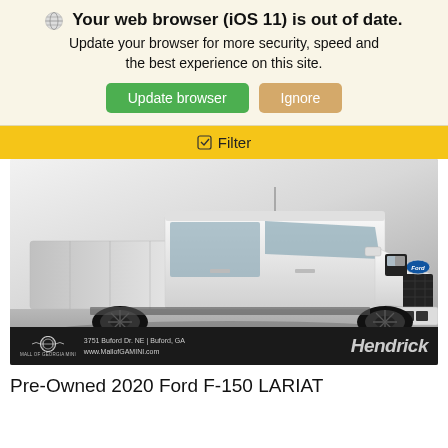🌐 Your web browser (iOS 11) is out of date. Update your browser for more security, speed and the best experience on this site.
Update browser | Ignore
✅ Filter
[Figure (photo): White Ford F-150 pickup truck photographed from a 3/4 front angle on a paved surface. The truck has black wheels and a sports appearance package. Dealer bar at the bottom shows Mall of Georgia MINI logo, address 3751 Buford Dr. NE | Buford, GA, www.MallofGAMINI.com, and Hendrick branding.]
Pre-Owned 2020 Ford F-150 LARIAT